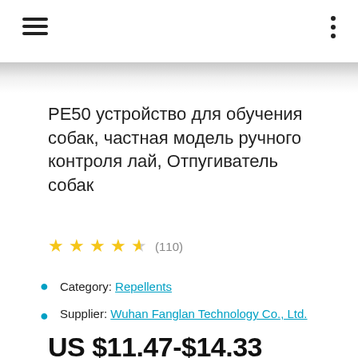navigation header with hamburger menu and dots menu
PE50 устройство для обучения собак, частная модель ручного контроля лай, Отпугиватель собак
★★★★½ (110)
Category: Repellents
Supplier: Wuhan Fanglan Technology Co., Ltd.
US $11.47-$14.33